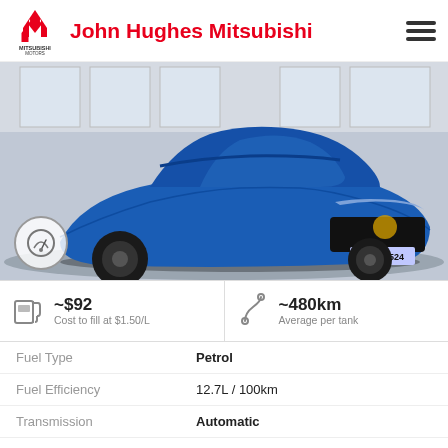John Hughes Mitsubishi
[Figure (photo): Blue Ford Mustang GT (plate 1HPO 524) photographed front-three-quarter view inside a dealership showroom. A speedometer icon overlay appears in the bottom-left corner of the image.]
~$92 Cost to fill at $1.50/L
~480km Average per tank
|  |  |
| --- | --- |
| Fuel Type | Petrol |
| Fuel Efficiency | 12.7L / 100km |
| Transmission | Automatic |
| Odometer | 13,749 kms |